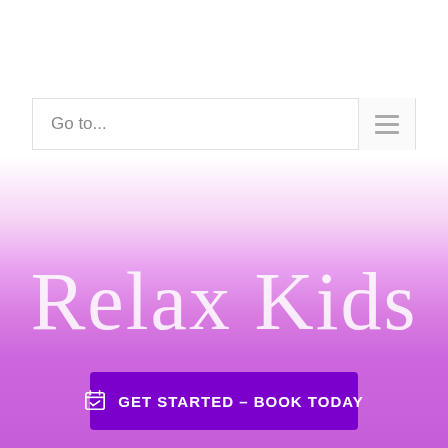Go to...
Relax Kids
GET STARTED – BOOK TODAY